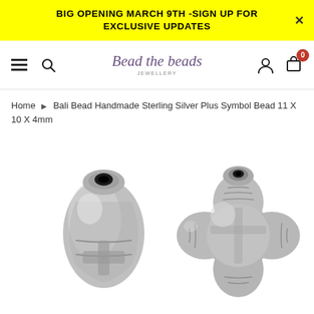BIG OPENING MARCH 9TH -SIGN UP FOR EXCLUSIVE UPDATES
[Figure (screenshot): Website navigation bar with hamburger menu, search icon, Bead the Beads Jewellery logo, user icon, and cart icon with badge showing 0]
Home ▶ Bali Bead Handmade Sterling Silver Plus Symbol Bead 11 X 10 X 4mm
[Figure (photo): Two sterling silver Bali handmade plus symbol beads shown from different angles - side view showing bead hole on left, and top/front view showing plus/cross shape on right. Beads are silver/metallic color.]